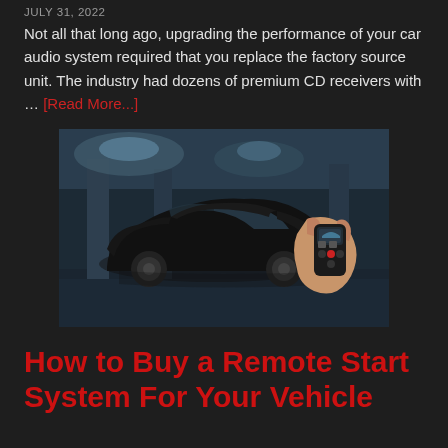JULY 31, 2022
Not all that long ago, upgrading the performance of your car audio system required that you replace the factory source unit. The industry had dozens of premium CD receivers with … [Read More...]
[Figure (photo): A black sedan car parked in a parking garage with a hand holding a remote start key fob in the foreground right side.]
How to Buy a Remote Start System For Your Vehicle